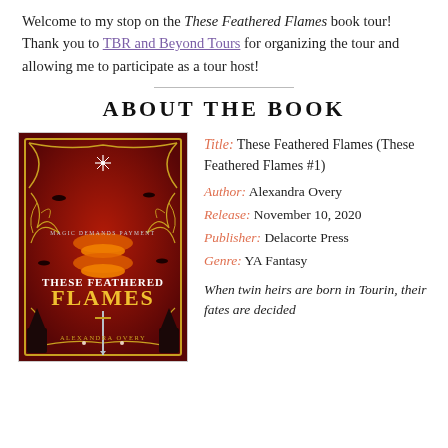Welcome to my stop on the These Feathered Flames book tour! Thank you to TBR and Beyond Tours for organizing the tour and allowing me to participate as a tour host!
ABOUT THE BOOK
[Figure (illustration): Book cover of These Feathered Flames by Alexandra Overy, featuring red and gold ornate decorative frame with fire motifs and birds, sword in center, text 'MAGIC DEMANDS PAYMENT' and 'THESE FEATHERED FLAMES' and 'FLAMES' and 'ALEXANDRA OVERY']
Title: These Feathered Flames (These Feathered Flames #1)
Author: Alexandra Overy
Release: November 10, 2020
Publisher: Delacorte Press
Genre: YA Fantasy
When twin heirs are born in Tourin, their fates are decided